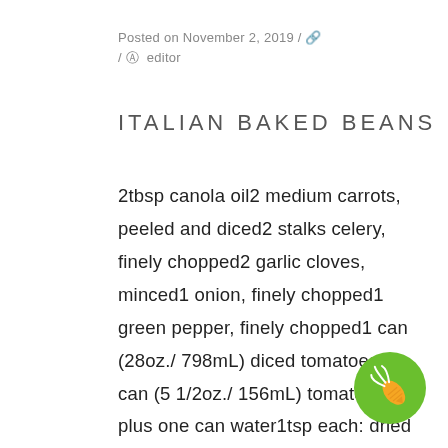Posted on November 2, 2019 / / editor
ITALIAN BAKED BEANS
2tbsp canola oil2 medium carrots, peeled and diced2 stalks celery, finely chopped2 garlic cloves, minced1 onion, finely chopped1 green pepper, finely chopped1 can (28oz./ 798mL) diced tomatoes1 can (5 1/2oz./ 156mL) tomato paste plus one can water1tsp each: dried basil, oregano and granulated sugarpinch hot pepper flakes1/2tsp salt1/4 cup Parmesan cheese, divided4 cups white
[Figure (illustration): Green circular button with a white carrot icon]